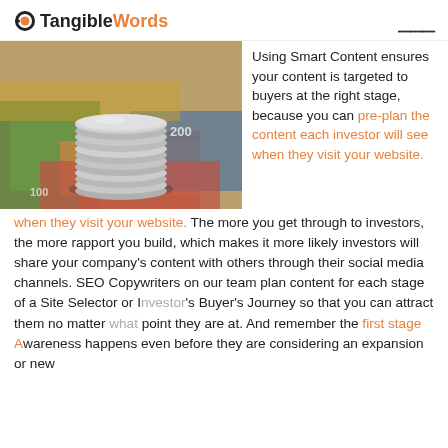Tangible Words
[Figure (photo): Stack of silver coins on top of colorful currency banknotes, blurred background]
Using Smart Content ensures your content is targeted to buyers at the right stage, because you can pre-plan the content each investor will see when they visit your website. The more you get through to investors, the more rapport you build, which makes it more likely investors will share your company's content with others through their social media channels. SEO Copywriters on our team plan content for each stage of a Site Selector or Investor's Buyer's Journey so that you can attract them no matter what point they are at. And remember the first stage Awareness happens even before they are considering an expansion or new